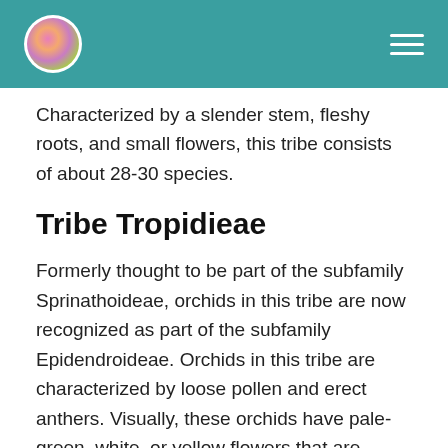Orchid [logo] [hamburger menu]
Characterized by a slender stem, fleshy roots, and small flowers, this tribe consists of about 28-30 species.
Tribe Tropidieae
Formerly thought to be part of the subfamily Sprinathoideae, orchids in this tribe are now recognized as part of the subfamily Epidendroideae. Orchids in this tribe are characterized by loose pollen and erect anthers. Visually, these orchids have pale-green, white, or yellow flowers that are clustered around the main